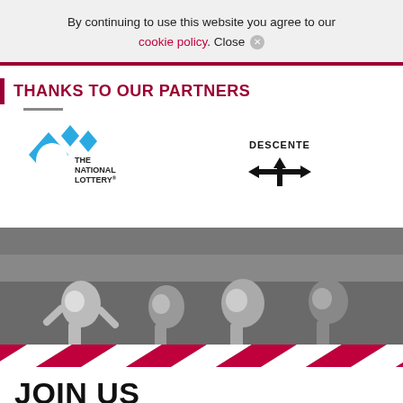By continuing to use this website you agree to our cookie policy. Close ✕
[Figure (logo): The National Lottery logo with blue diamond sparkles and crossed fingers icon]
[Figure (logo): Descente logo with black arrow cross symbol]
THANKS TO OUR PARTNERS
[Figure (photo): Black and white photo of four people running away from camera with red and white diagonal stripe overlay at bottom]
JOIN US